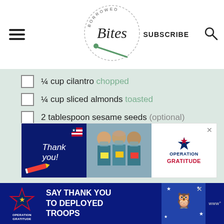[Figure (logo): Borrowed Bites logo — circular badge with a fork/spoon, script text 'Borrowed Bites']
¼ cup cilantro chopped
¼ cup sliced almonds toasted
2 tablespoon sesame seeds (optional)
[Figure (photo): Operation Gratitude advertisement — 'Thank you!' text with pencil graphic, healthcare workers holding cards, Operation Gratitude logo]
[Figure (photo): Operation Gratitude bottom banner — 'SAY THANK YOU TO DEPLOYED TROOPS' text, Operation Gratitude logo, patriotic owl illustration]